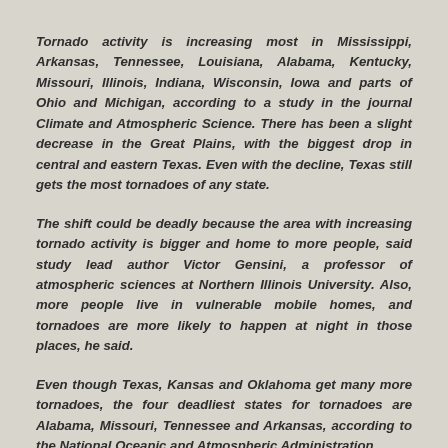Tornado activity is increasing most in Mississippi, Arkansas, Tennessee, Louisiana, Alabama, Kentucky, Missouri, Illinois, Indiana, Wisconsin, Iowa and parts of Ohio and Michigan, according to a study in the journal Climate and Atmospheric Science. There has been a slight decrease in the Great Plains, with the biggest drop in central and eastern Texas. Even with the decline, Texas still gets the most tornadoes of any state.
The shift could be deadly because the area with increasing tornado activity is bigger and home to more people, said study lead author Victor Gensini, a professor of atmospheric sciences at Northern Illinois University. Also, more people live in vulnerable mobile homes, and tornadoes are more likely to happen at night in those places, he said.
Even though Texas, Kansas and Oklahoma get many more tornadoes, the four deadliest states for tornadoes are Alabama, Missouri, Tennessee and Arkansas, according to the National Oceanic and Atmospheric Administration.
“More folks are generally at risk because of that eastward shift,” Gensini said.